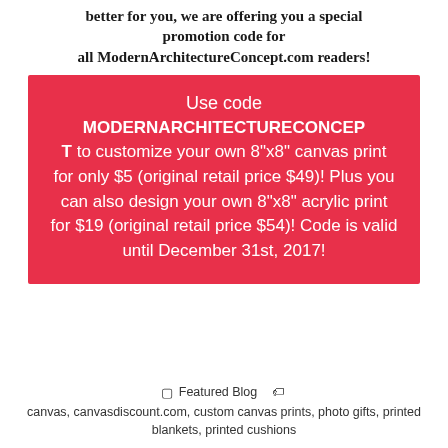better for you, we are offering you a special promotion code for all ModernArchitectureConcept.com readers!
Use code MODERNARCHITECTURECONCEPT to customize your own 8"x8" canvas print for only $5 (original retail price $49)! Plus you can also design your own 8"x8" acrylic print for $19 (original retail price $54)! Code is valid until December 31st, 2017!
Featured Blog   canvas, canvasdiscount.com, custom canvas prints, photo gifts, printed blankets, printed cushions